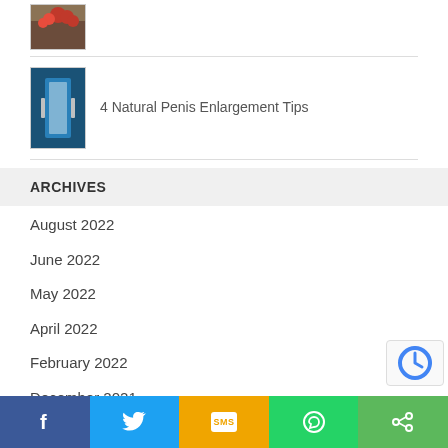[Figure (photo): Small thumbnail image with red flowers/berries at top]
[Figure (photo): Thumbnail image of person in blue jeans holding a measuring tape]
4 Natural Penis Enlargement Tips
ARCHIVES
August 2022
June 2022
May 2022
April 2022
February 2022
December 2021
f  [Twitter]  SMS  [WhatsApp]  <